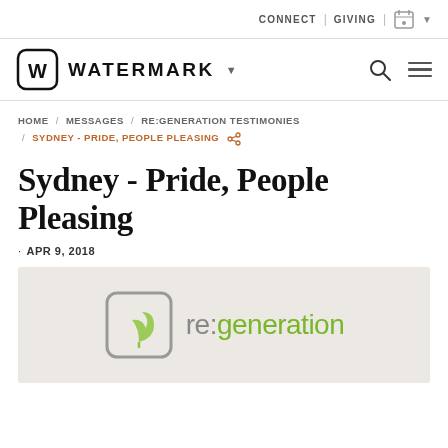CONNECT | GIVING |
[Figure (logo): Watermark church logo with W in rounded square and WATERMARK text with dropdown arrow, search icon and hamburger menu]
HOME / MESSAGES / RE:GENERATION TESTIMONIES / SYDNEY - PRIDE, PEOPLE PLEASING
Sydney - Pride, People Pleasing
· APR 9, 2018
[Figure (logo): re:generation logo - grey rounded square with green leaf sprout icon and re:generation text in grey and green]